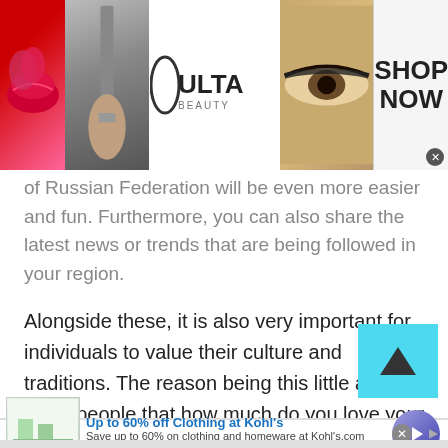[Figure (photo): Ulta Beauty advertisement banner showing makeup images (lips, brush, eye), Ulta Beauty logo, and SHOP NOW text]
of Russian Federation will be even more easier and fun. Furthermore, you can also share the latest news or trends that are being followed in your region.
Alongside these, it is also very important for individuals to value their culture and traditions. The reason being this little act will show people that how much do you love your country and how deeply you are integrated in your country's culture and traditions. Moreover, this also lets people understand that you value your core value. This
[Figure (other): Scroll up arrow button with cyan/light blue background]
[Figure (other): Kohl's advertisement - Up to 60% off Clothing at Kohl's, Save up to 60% on clothing and homeware at Kohls.com, kohls.com]